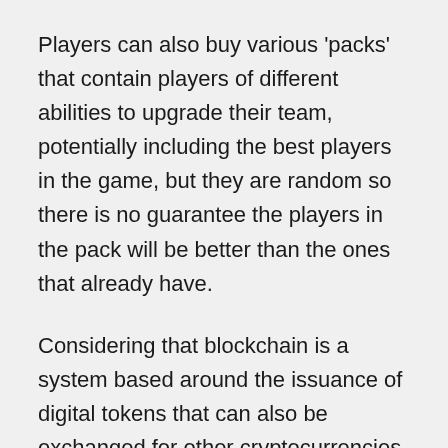Players can also buy various 'packs' that contain players of different abilities to upgrade their team, potentially including the best players in the game, but they are random so there is no guarantee the players in the pack will be better than the ones that already have.
Considering that blockchain is a system based around the issuance of digital tokens that can also be exchanged for other cryptocurrencies and even fiat currency, it's hardly surprising to see the online gaming world adopt blockchain as part of their rewards systems. Take the Huntercoin project, which proves that cryptocurrency tokens and online gameplay can be fused to a very useful effect. Huntercoin is an open-